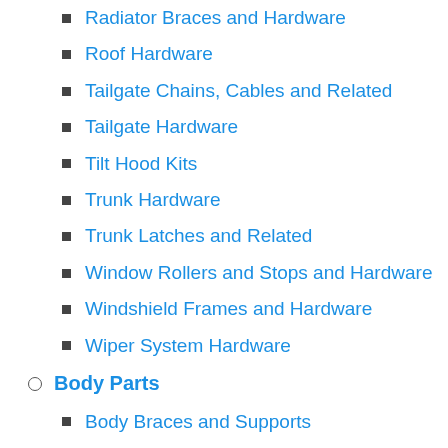Radiator Braces and Hardware
Roof Hardware
Tailgate Chains, Cables and Related
Tailgate Hardware
Tilt Hood Kits
Trunk Hardware
Trunk Latches and Related
Window Rollers and Stops and Hardware
Windshield Frames and Hardware
Wiper System Hardware
Body Parts
Body Braces and Supports
Body Wood Kits and Components
Bumpers and Components
Cowl Panels and Components
Cross Rails and Related
Door Shells and Skins and Panels
Exhaust Filler Panels
Fenders and Components